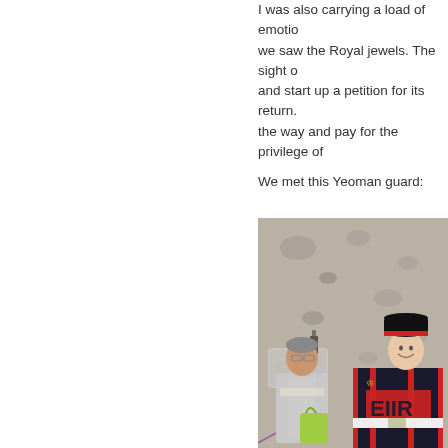I was also carrying a load of emotion when we saw the Royal jewels. The sight of and start up a petition for its return. the way and pay for the privilege of
We met this Yeoman guard:
[Figure (photo): A tourist posing with a Yeoman Warder (Beefeater) in traditional dark blue and red uniform with 'EIIR' insignia, standing against a stone wall background. The tourist is wearing glasses and a light gray jacket and holding a green bag.]